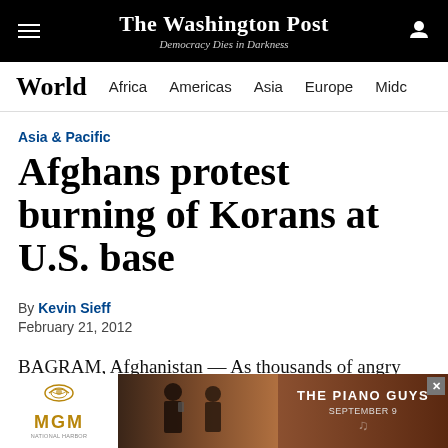The Washington Post — Democracy Dies in Darkness
World  Africa  Americas  Asia  Europe  Midc
Asia & Pacific
Afghans protest burning of Korans at U.S. base
By Kevin Sieff
February 21, 2012
BAGRAM, Afghanistan — As thousands of angry Afghans flung rocks at NATO's largest military base in Afghanistan on Tuesday, American officials sought to
[Figure (other): MGM Resorts advertisement banner featuring The Piano Guys, September 9]